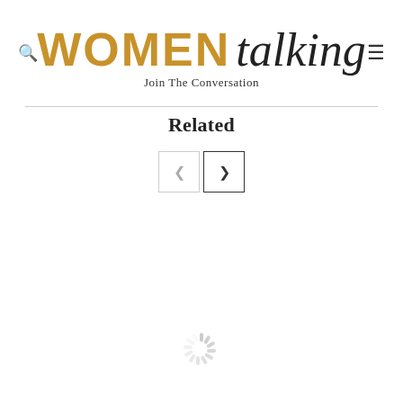WOMEN talking — Join The Conversation
Related
[Figure (screenshot): Navigation buttons: left arrow (inactive) and right arrow (active)]
[Figure (other): Loading spinner indicator]